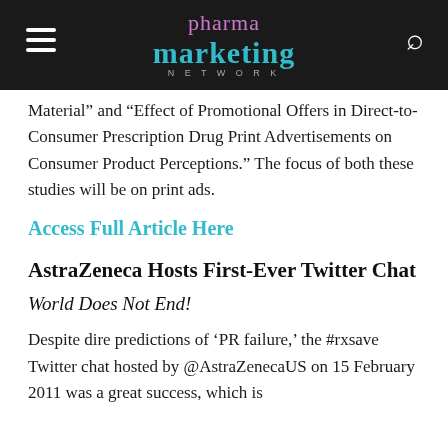pharma marketing network
Material” and “Effect of Promotional Offers in Direct-to-Consumer Prescription Drug Print Advertisements on Consumer Product Perceptions.” The focus of both these studies will be on print ads.
Access Full Article Here
AstraZeneca Hosts First-Ever Twitter Chat
World Does Not End!
Despite dire predictions of ‘PR failure,’ the #rxsave Twitter chat hosted by @AstraZenecaUS on 15 February 2011 was a great success, which is